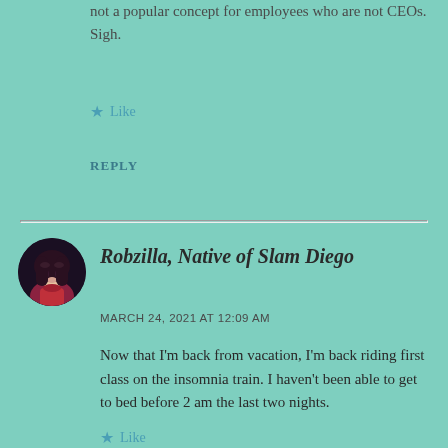not a popular concept for employees who are not CEOs. Sigh.
★ Like
REPLY
Robzilla, Native of Slam Diego
MARCH 24, 2021 AT 12:09 AM
Now that I'm back from vacation, I'm back riding first class on the insomnia train. I haven't been able to get to bed before 2 am the last two nights.
★ Like